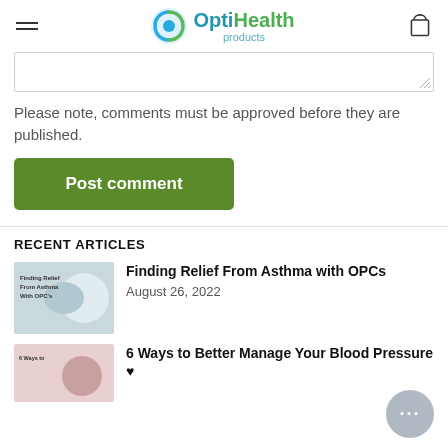OptiHealth products
Please note, comments must be approved before they are published.
Post comment
RECENT ARTICLES
[Figure (photo): Thumbnail image for article: Finding Relief From Asthma with OPCs]
Finding Relief From Asthma with OPCs
August 26, 2022
[Figure (photo): Thumbnail image for article: 6 Ways to Better Manage Your Blood Pressure]
6 Ways to Better Manage Your Blood Pressure 🖤